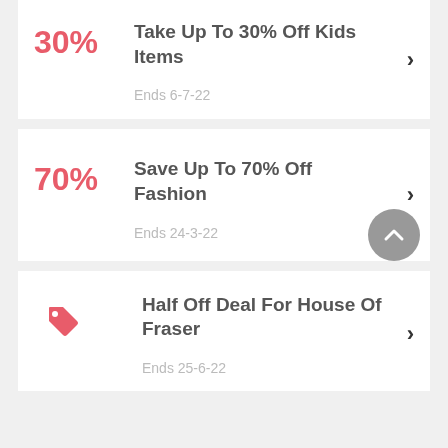30% — Take Up To 30% Off Kids Items — Ends 6-7-22
70% — Save Up To 70% Off Fashion — Ends 24-3-22
[tag icon] — Half Off Deal For House Of Fraser — Ends 25-6-22